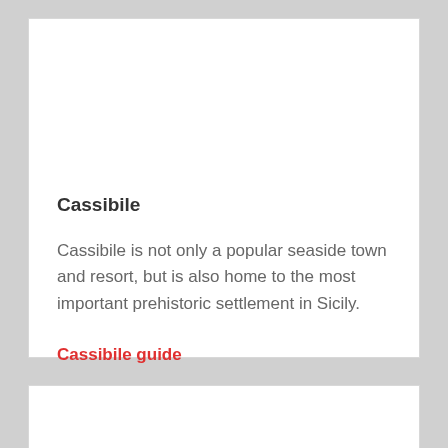Cassibile
Cassibile is not only a popular seaside town and resort, but is also home to the most important prehistoric settlement in Sicily.
Cassibile guide